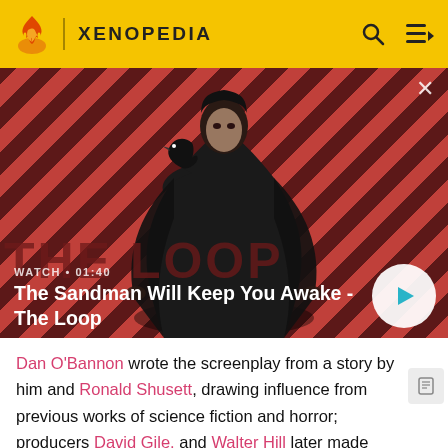XENOPEDIA
[Figure (screenshot): Video thumbnail showing a dark-cloaked figure with a raven on their shoulder against a red and dark diagonal striped background. Text overlay reads WATCH • 01:40 and The Sandman Will Keep You Awake - The Loop, with a play button on the right.]
The Sandman Will Keep You Awake - The Loop
Dan O'Bannon wrote the screenplay from a story by him and Ronald Shusett, drawing influence from previous works of science fiction and horror; producers David Gile. and Walter Hill later made significant revisions and additions to the script, although they were not credited